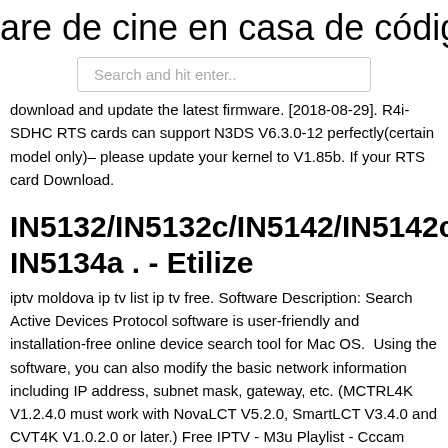are de cine en casa de código abiert
Search and hit enter..
download and update the latest firmware. [2018-08-29]. R4i-SDHC RTS cards can support N3DS V6.3.0-12 perfectly(certain model only)– please update your kernel to V1.85b. If your RTS card Download.
IN5132/IN5132c/IN5142/IN5142c/IN51 IN5134a . - Etilize
iptv moldova ip tv list ip tv free. Software Description: Search Active Devices Protocol software is user-friendly and installation-free online device search tool for Mac OS.  Using the software, you can also modify the basic network information including IP address, subnet mask, gateway, etc. (MCTRL4K V1.2.4.0 must work with NovaLCT V5.2.0, SmartLCT V3.4.0 and CVT4K V1.0.2.0 or later.) Free IPTV - M3u Playlist - Cccam Gratis - Xtream Codes - Zaltv Active - Links Low Sports - Smarters Pro - Lxtream Activation 2020 If the screen displays "Wrong date or firmware expired!", please